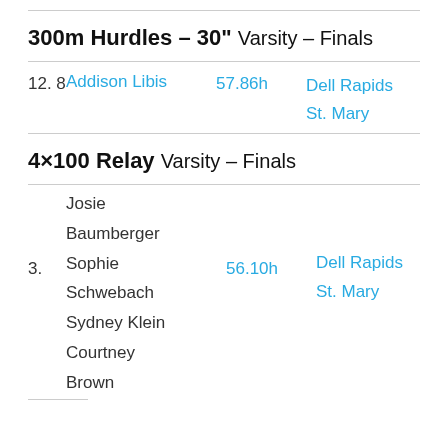300m Hurdles – 30" Varsity – Finals
12. 8  Addison Libis  57.86h  Dell Rapids St. Mary
4×100 Relay  Varsity – Finals
3.  Josie Baumberger  Sophie Schwebach  Sydney Klein  Courtney Brown  56.10h  Dell Rapids St. Mary